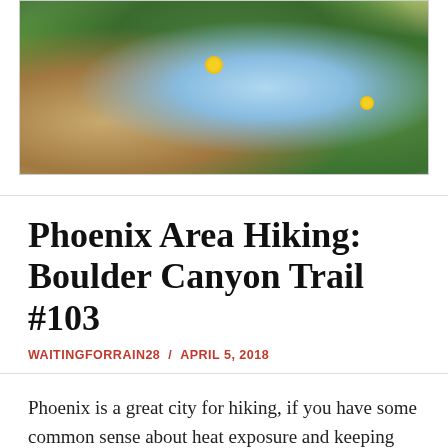[Figure (photo): Photograph of green leafy plants with yellow flowers growing among wet rocks, with rushing water or spray visible in the upper right background. Shot from above, showing lush green vegetation against reddish-brown rock.]
Phoenix Area Hiking: Boulder Canyon Trail #103
WAITINGFORRAIN28 / APRIL 5, 2018
Phoenix is a great city for hiking, if you have some common sense about heat exposure and keeping water